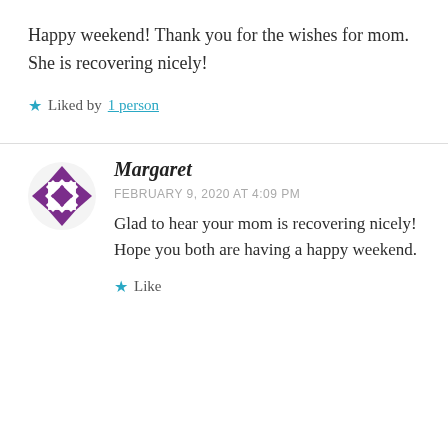Happy weekend! Thank you for the wishes for mom. She is recovering nicely!
★ Liked by 1 person
Margaret
FEBRUARY 9, 2020 AT 4:09 PM
Glad to hear your mom is recovering nicely! Hope you both are having a happy weekend.
★ Like